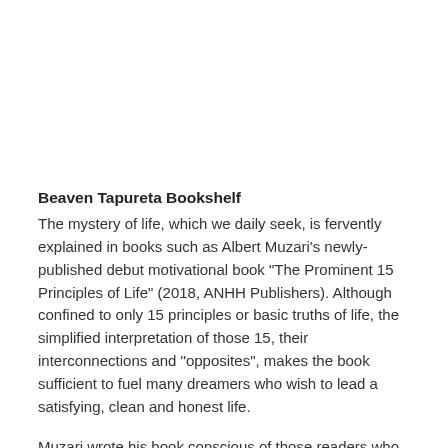Beaven Tapureta Bookshelf
The mystery of life, which we daily seek, is fervently explained in books such as Albert Muzari’s newly-published debut motivational book “The Prominent 15 Principles of Life” (2018, ANHH Publishers). Although confined to only 15 principles or basic truths of life, the simplified interpretation of those 15, their interconnections and “opposites”, makes the book sufficient to fuel many dreamers who wish to lead a satisfying, clean and honest life.
Muzari wrote his book conscious of those readers who are hypercritical or doubtful and therefore where he suspects he could be misinterpreted, he simplifies or openly chooses to remain